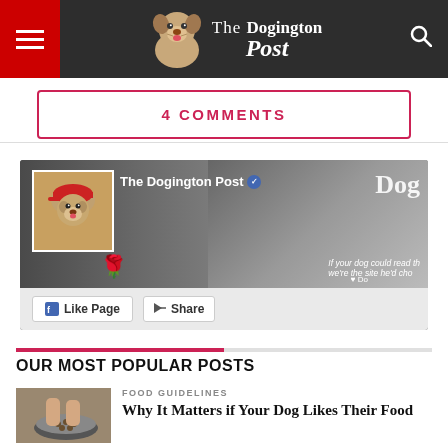The Dogington Post
4 COMMENTS
[Figure (screenshot): Facebook Like Page widget for The Dogington Post, showing a profile picture of a bulldog puppy wearing a red cap, a dog holding a rose in its mouth as the cover photo, with a 'Like Page' button and 'Share' button at the bottom.]
OUR MOST POPULAR POSTS
FOOD GUIDELINES
Why It Matters if Your Dog Likes Their Food